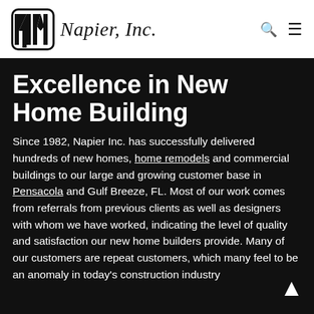Napier, Inc.
Excellence in New Home Building
Since 1982, Napier Inc. has successfully delivered hundreds of new homes, home remodels and commercial buildings to our large and growing customer base in Pensacola and Gulf Breeze, FL. Most of our work comes from referrals from previous clients as well as designers with whom we have worked, indicating the level of quality and satisfaction our new home builders provide. Many of our customers are repeat customers, which many feel to be an anomaly in today's construction industry